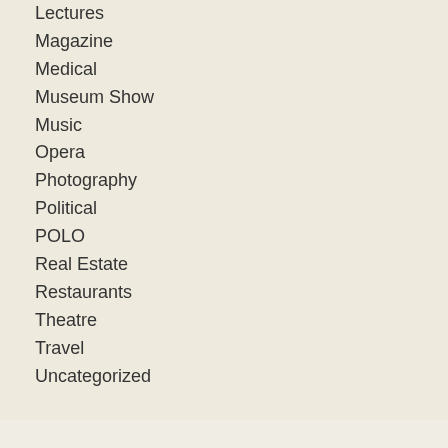Lectures
Magazine
Medical
Museum Show
Music
Opera
Photography
Political
POLO
Real Estate
Restaurants
Theatre
Travel
Uncategorized
Museums